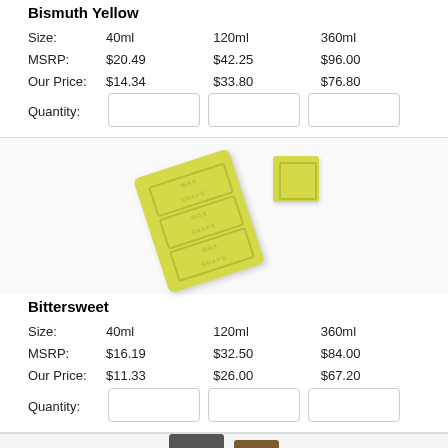Bismuth Yellow
|  | 40ml | 120ml | 360ml |
| --- | --- | --- | --- |
| Size: | 40ml | 120ml | 360ml |
| MSRP: | $20.49 | $42.25 | $96.00 |
| Our Price: | $14.34 | $33.80 | $76.80 |
| Quantity: |  |  |  |
[Figure (photo): Yellow wax snaps product — a bar of three connected wax blocks and a single square wax snap, both yellow-green in color with 'WAX SNAPS' embossed text]
Bittersweet
|  | 40ml | 120ml | 360ml |
| --- | --- | --- | --- |
| Size: | 40ml | 120ml | 360ml |
| MSRP: | $16.19 | $32.50 | $84.00 |
| Our Price: | $11.33 | $26.00 | $67.20 |
| Quantity: |  |  |  |
[Figure (photo): Partial view of a dark/black wax product and a brown square wax snap at the bottom of the page]